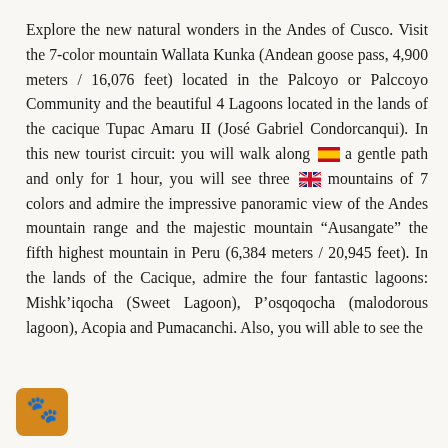Explore the new natural wonders in the Andes of Cusco. Visit the 7-color mountain Wallata Kunka (Andean goose pass, 4,900 meters / 16,076 feet) located in the Palcoyo or Palccoyo Community and the beautiful 4 Lagoons located in the lands of the cacique Tupac Amaru II (José Gabriel Condorcanqui). In this new tourist circuit: you will walk along a gentle path and only for 1 hour, you will see three mountains of 7 colors and admire the impressive panoramic view of the Andes mountain range and the majestic mountain "Ausangate" the fifth highest mountain in Peru (6,384 meters / 20,945 feet). In the lands of the Cacique, admire the four fantastic lagoons: Mishk'iqocha (Sweet Lagoon), P'osqoqocha (malodorous lagoon), Acopia and Pumacanchi. Also, you will able to see the